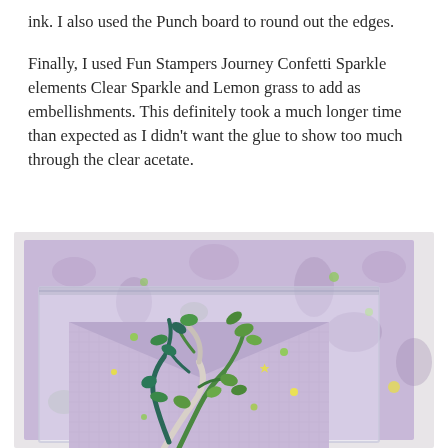ink. I also used the Punch board to round out the edges.
Finally, I used Fun Stampers Journey Confetti Sparkle elements Clear Sparkle and Lemon grass to add as embellishments. This definitely took a much longer time than expected as I didn't want the glue to show too much through the clear acetate.
[Figure (photo): Close-up photo of a handmade craft project: a clear acetate envelope/bag containing a lavender purple textured card decorated with green and white tree branch die cuts and confetti sparkle embellishments in green and yellow, placed on a floral patterned lavender background paper.]